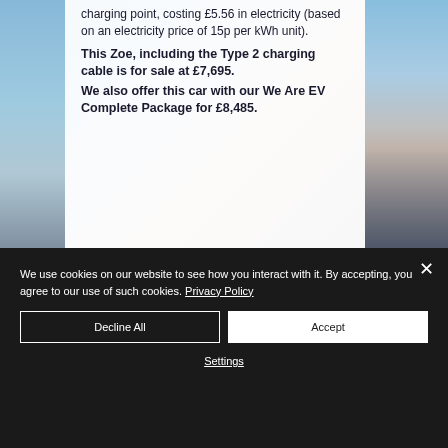[Figure (photo): Background photo of electric cars (Renault Zoe) with blue and pink sky, partially visible behind a white semi-transparent text overlay card]
charging point, costing £5.56 in electricity (based on an electricity price of 15p per kWh unit).
This Zoe, including the Type 2 charging cable is for sale at £7,695. We also offer this car with our We Are EV Complete Package for £8,485.
We use cookies on our website to see how you interact with it. By accepting, you agree to our use of such cookies. Privacy Policy
Decline All
Accept
Settings